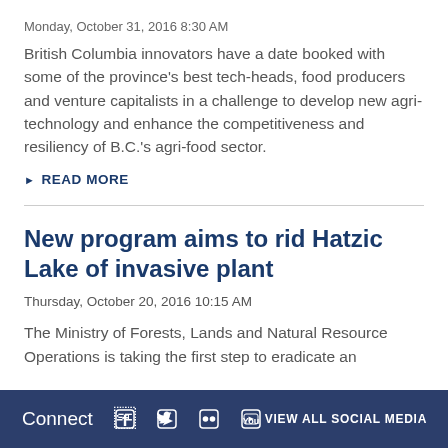Monday, October 31, 2016 8:30 AM
British Columbia innovators have a date booked with some of the province’s best tech-heads, food producers and venture capitalists in a challenge to develop new agri-technology and enhance the competitiveness and resiliency of B.C.’s agri-food sector.
▶ READ MORE
New program aims to rid Hatzic Lake of invasive plant
Thursday, October 20, 2016 10:15 AM
The Ministry of Forests, Lands and Natural Resource Operations is taking the first step to eradicate an
Connect  VIEW ALL SOCIAL MEDIA